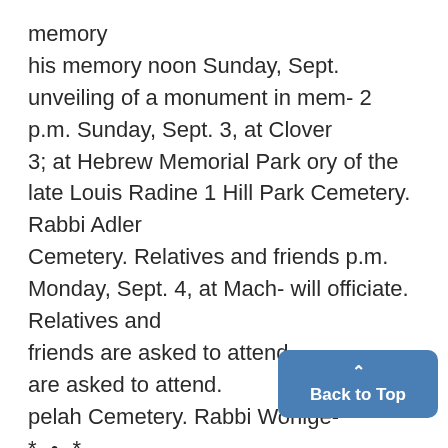memory
his memory noon Sunday, Sept. unveiling of a monument in mem- 2 p.m. Sunday, Sept. 3, at Clover
3; at Hebrew Memorial Park ory of the late Louis Radine 1 Hill Park Cemetery. Rabbi Adler
Cemetery. Relatives and friends p.m. Monday, Sept. 4, at Mach- will officiate. Relatives and
friends are asked to attend.
are asked to attend.
pelah Cemetery. Rabbi Wohlge-
* • *